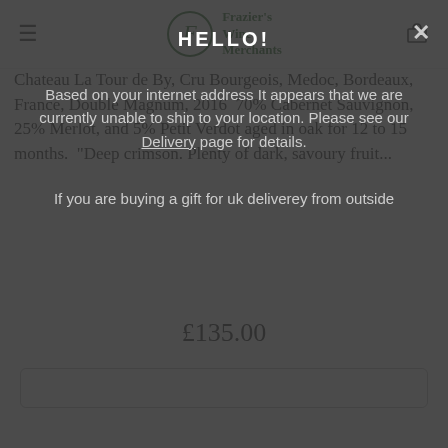Frazier's Wine Merchants
Chateau La Tour de By, Cru Bourgeois, Medoc, Bordeaux, France, Double Magnum, 2016  70% Cabernet Sauvignon, 25% Merlot, and 5% Petit Verdot aged in oak for 12 to 15 months.  "Deep crimson. Plenty of dark, savoury fruit...
£135.00
HELLO!
Based on your internet address It appears that we are currently unable to ship to your location. Please see our Delivery page for details.
If you are buying a gift for uk deliverey from outside